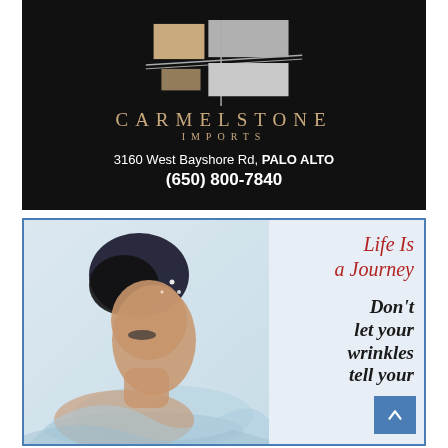[Figure (logo): Carmelstone Imports advertisement with black background, geometric stone logo, address 3160 West Bayshore Rd, PALO ALTO and phone (650) 800-7840]
[Figure (photo): Advertisement showing a woman with water splashing around her hair and 'Life Is a Journey / Don't let your wrinkles tell your' text on white background with blue border]